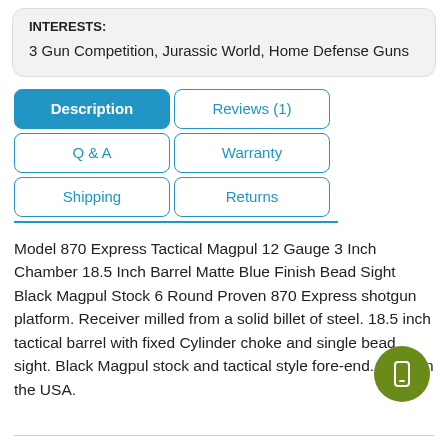INTERESTS:
3 Gun Competition, Jurassic World, Home Defense Guns
Description
Reviews (1)
Q & A
Warranty
Shipping
Returns
Model 870 Express Tactical Magpul 12 Gauge 3 Inch Chamber 18.5 Inch Barrel Matte Blue Finish Bead Sight Black Magpul Stock 6 Round Proven 870 Express shotgun platform. Receiver milled from a solid billet of steel. 18.5 inch tactical barrel with fixed Cylinder choke and single bead sight. Black Magpul stock and tactical style fore-end. Made in the USA.
[Figure (other): Green circular floating action button with phone/tablet icon]